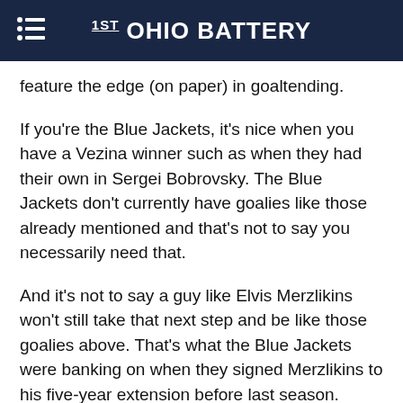1st OHIO BATTERY
feature the edge (on paper) in goaltending.
If you're the Blue Jackets, it's nice when you have a Vezina winner such as when they had their own in Sergei Bobrovsky. The Blue Jackets don't currently have goalies like those already mentioned and that's not to say you necessarily need that.
And it's not to say a guy like Elvis Merzlikins won't still take that next step and be like those goalies above. That's what the Blue Jackets were banking on when they signed Merzlikins to his five-year extension before last season.